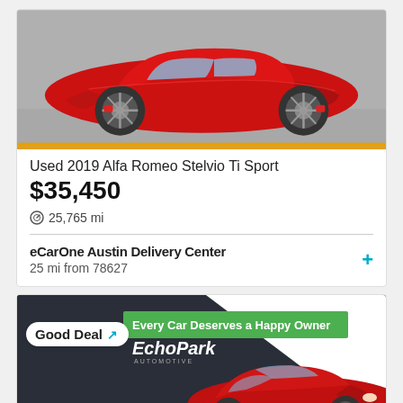[Figure (photo): Side view of a red 2019 Alfa Romeo Stelvio Ti Sport SUV with orange bordered image frame]
Used 2019 Alfa Romeo Stelvio Ti Sport
$35,450
25,765 mi
eCarOne Austin Delivery Center
25 mi from 78627
[Figure (photo): Second car listing showing a red Alfa Romeo Stelvio SUV with EchoPark Automotive branding, green banner reading 'Every Car Deserves a Happy Owner', and a 'Good Deal' badge]